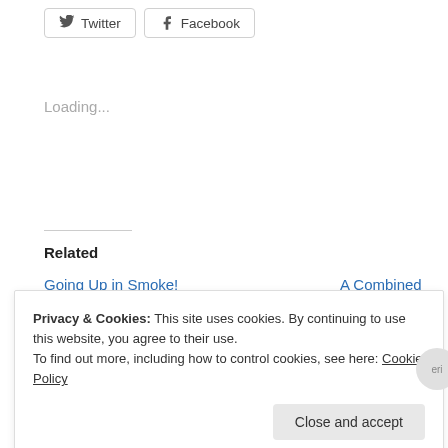[Figure (other): Twitter and Facebook share buttons]
Loading...
Related
Going Up in Smoke!
October 2, 2018
In "art"
A Combined fo...
August 4, 2017
In "bake"
A Table Top Food Smoker
July 20, 2017
In "bake"
Privacy & Cookies: This site uses cookies. By continuing to use this website, you agree to their use.
To find out more, including how to control cookies, see here: Cookie Policy
Close and accept